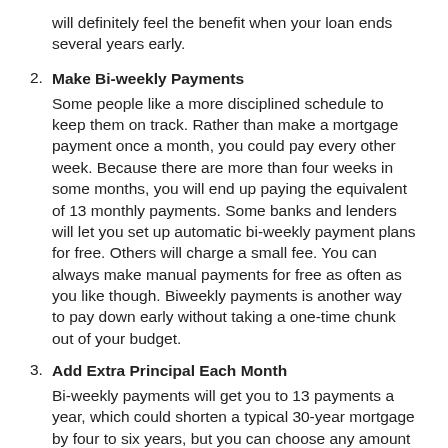will definitely feel the benefit when your loan ends several years early.
Make Bi-weekly Payments: Some people like a more disciplined schedule to keep them on track. Rather than make a mortgage payment once a month, you could pay every other week. Because there are more than four weeks in some months, you will end up paying the equivalent of 13 monthly payments. Some banks and lenders will let you set up automatic bi-weekly payment plans for free. Others will charge a small fee. You can always make manual payments for free as often as you like though. Biweekly payments is another way to pay down early without taking a one-time chunk out of your budget.
Add Extra Principal Each Month: Bi-weekly payments will get you to 13 payments a year, which could shorten a typical 30-year mortgage by four to six years, but you can choose any amount that fits your budget to give each month. Even adding $